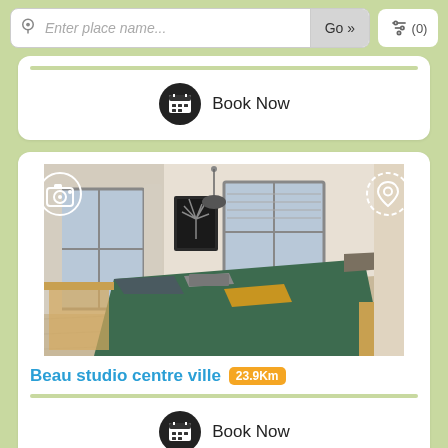Enter place name... Go » (0)
[Figure (screenshot): Partial card showing a Book Now button with calendar icon]
[Figure (photo): Room photo showing a studio apartment with green bed, yellow pillow, wooden floor, white walls, and two windows with curtains. Camera icon top-left, location pin icon top-right.]
Beau studio centre ville 23.9Km
Book Now